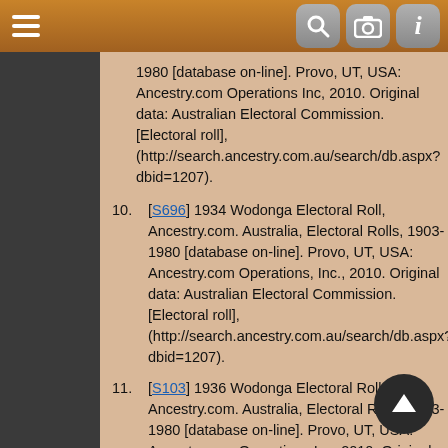Navigation bar with hamburger menu, search, camera, and info buttons
1980 [database on-line]. Provo, UT, USA: Ancestry.com Operations Inc, 2010. Original data: Australian Electoral Commission. [Electoral roll], (http://search.ancestry.com.au/search/db.aspx?dbid=1207).
10. [S696] 1934 Wodonga Electoral Roll, Ancestry.com. Australia, Electoral Rolls, 1903-1980 [database on-line]. Provo, UT, USA: Ancestry.com Operations, Inc., 2010. Original data: Australian Electoral Commission. [Electoral roll], (http://search.ancestry.com.au/search/db.aspx?dbid=1207).
11. [S103] 1936 Wodonga Electoral Rolls, Ancestry.com. Australia, Electoral Rolls, 1903-1980 [database on-line]. Provo, UT, USA: Ancestry.com Operations Inc, 2010. Original data: Australian Electoral Commission. [Electoral roll], (http://search.ancestry.com.au/search/db.aspx?dbid=1207).
12. [S102] 1937 Wodonga Electoral Rolls VIC, Ancestry.com. Australia, Electoral Rolls, 1903-1980 [database on-line]. Provo, UT, USA: Ancestry.com Operations Inc, 2010. Original data: